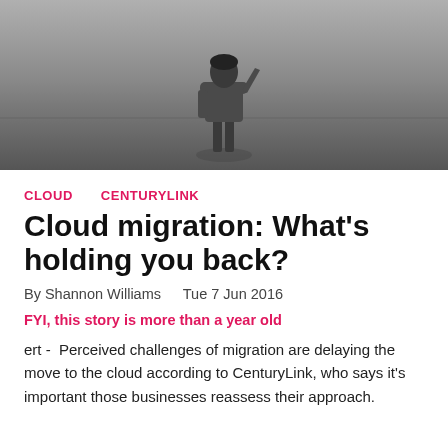[Figure (photo): A man in a business suit seen from behind, standing in a grey empty room, hand raised to his head in a thinking or puzzled pose.]
CLOUD    CENTURYLINK
Cloud migration: What's holding you back?
By Shannon Williams    Tue 7 Jun 2016
FYI, this story is more than a year old
ert -  Perceived challenges of migration are delaying the move to the cloud according to CenturyLink, who says it's important those businesses reassess their approach.